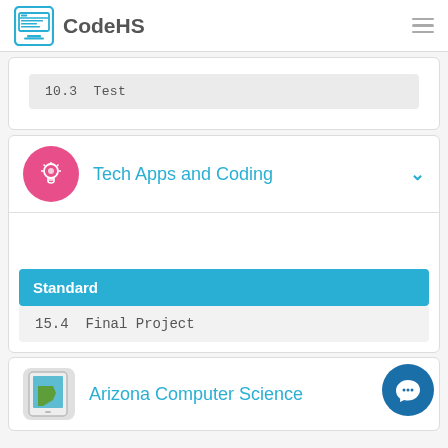CodeHS
10.3  Test
Tech Apps and Coding
Standard
15.4  Final Project
Arizona Computer Science